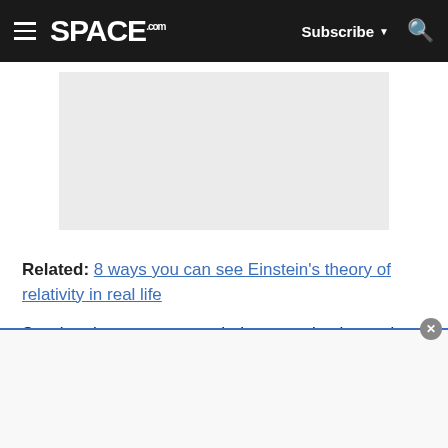SPACE.com — Subscribe, Search
[Figure (other): Gray advertisement placeholder rectangle]
Related: 8 ways you can see Einstein's theory of relativity in real life
So when it comes to wormholes, you simply need to ask yourself: Is it possible to bend space-time in such a contorted way that it folds over on itself, forming a short-distance tunnel between two otherwise distant…
[Figure (other): Bottom overlay advertisement panel with close button]